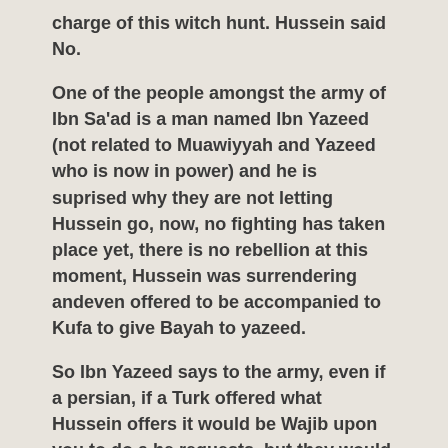charge of this witch hunt. Hussein said No.
One of the people amongst the army of Ibn Sa'ad is a man named Ibn Yazeed (not related to Muawiyyah and Yazeed who is now in power) and he is suprised why they are not letting Hussein go, now, no fighting has taken place yet, there is no rebellion at this moment, Hussein was surrendering andeven offered to be accompanied to Kufa to give Bayah to yazeed.
So Ibn Yazeed says to the army, even if a persian, if a Turk offered what Hussein offers it would be Wajib upon you to do a he requests, but they would not listen to his reasoning.
Abu Hur Ibn Yazeed, gets on his horse heads to